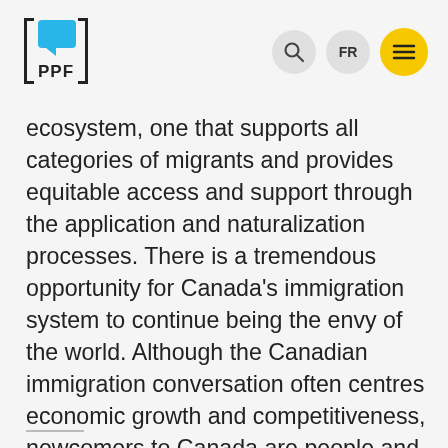PPF logo with search, FR, and menu navigation icons
ecosystem, one that supports all categories of migrants and provides equitable access and support through the application and naturalization processes. There is a tremendous opportunity for Canada's immigration system to continue being the envy of the world. Although the Canadian immigration conversation often centres economic growth and competitiveness, newcomers to Canada are people and deserve to be treated with dignity and respect – technology is a tool to help move us toward a system that prioritizes newcomers.